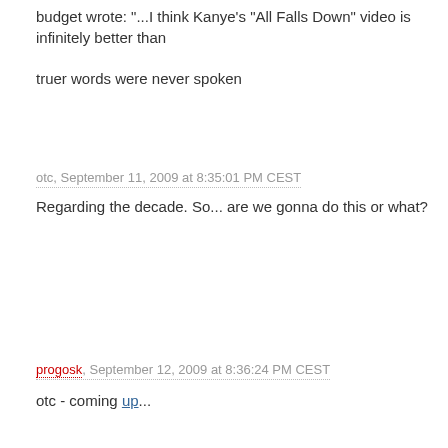budget wrote: "...I think Kanye's "All Falls Down" video is infinitely better than
truer words were never spoken
otc, September 11, 2009 at 8:35:01 PM CEST
Regarding the decade. So... are we gonna do this or what?
progosk, September 12, 2009 at 8:36:24 PM CEST
otc - coming up...
comment!